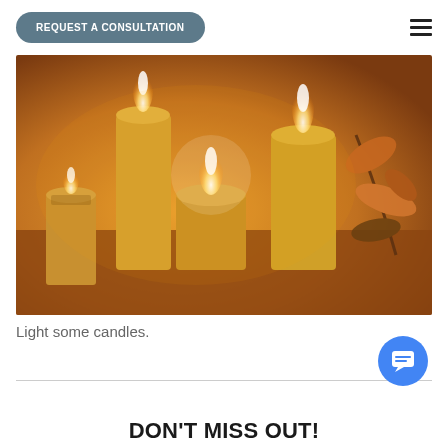REQUEST A CONSULTATION
[Figure (photo): Warm-lit candles of various sizes arranged on a wooden surface with autumn leaves in the background]
Light some candles.
DON'T MISS OUT!